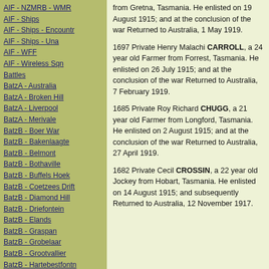AIF - NZMRB - WMR
AIF - Ships
AIF - Ships - Encountr
AIF - Ships - Una
AIF - WFF
AIF - Wireless Sqn
Battles
BatzA - Australia
BatzA - Broken Hill
BatzA - Liverpool
BatzA - Merivale
BatzB - Boer War
BatzB - Bakenlaagte
BatzB - Belmont
BatzB - Bothaville
BatzB - Buffels Hoek
BatzB - Coetzees Drift
BatzB - Diamond Hill
BatzB - Driefontein
BatzB - Elands
BatzB - Graspan
BatzB - Grobelaar
BatzB - Grootvallier
BatzB - Hartebestfontn
BatzB - Houtnek
BatzB - Karee Siding
BatzB - Kimberley
BatzB - Koster River
from Gretna, Tasmania. He enlisted on 19 August 1915; and at the conclusion of the war Returned to Australia, 1 May 1919.
1697 Private Henry Malachi CARROLL, a 24 year old Farmer from Forrest, Tasmania. He enlisted on 26 July 1915; and at the conclusion of the war Returned to Australia, 7 February 1919.
1685 Private Roy Richard CHUGG, a 21 year old Farmer from Longford, Tasmania. He enlisted on 2 August 1915; and at the conclusion of the war Returned to Australia, 27 April 1919.
1682 Private Cecil CROSSIN, a 22 year old Jockey from Hobart, Tasmania. He enlisted on 14 August 1915; and subsequently Returned to Australia, 12 November 1917.